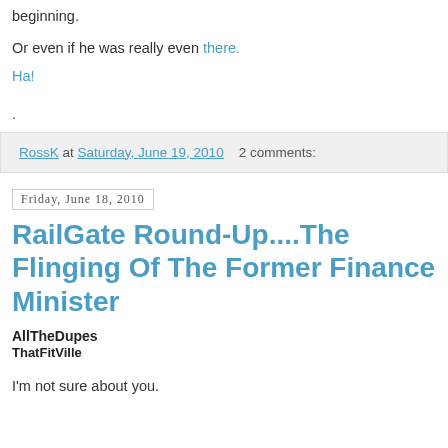beginning.
Or even if he was really even there.
Ha!
.
RossK at Saturday, June 19, 2010   2 comments:
Friday, June 18, 2010
RailGate Round-Up....The Flinging Of The Former Finance Minister
AllTheDupes
ThatFitVille
I'm not sure about you.